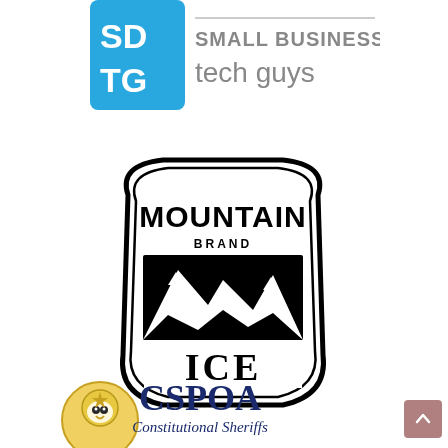[Figure (logo): Small Business Tech Guys (SBTG) logo: blue square tile with white letters SD on top and TG on bottom, beside the text 'SMALL BUSINESS tech guys' in grey sans-serif]
[Figure (logo): Mountain Brand Ice logo: black and white badge-shaped emblem with 'MOUNTAIN' arched text at top, 'BRAND' below it, mountain silhouette illustration in the center, and 'ICE' in large serif letters at the bottom]
[Figure (logo): CSPOA Constitutional Sheriffs logo: partial view showing a gold sheriff badge mascot on the left, and 'CSPOA Constitutional Sheriffs' in dark blue serif text on the right]